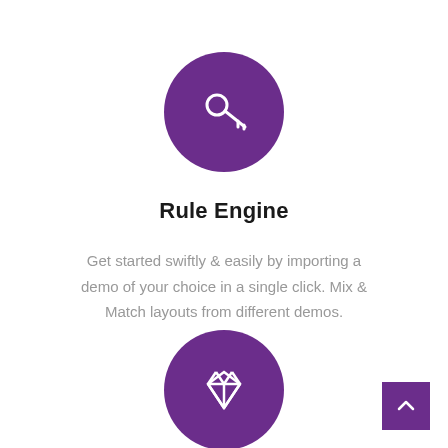[Figure (illustration): Purple circle with white key icon]
Rule Engine
Get started swiftly & easily by importing a demo of your choice in a single click. Mix & Match layouts from different demos.
[Figure (illustration): Purple circle with white diamond/gem icon]
[Figure (illustration): Purple square back-to-top button with upward chevron arrow]